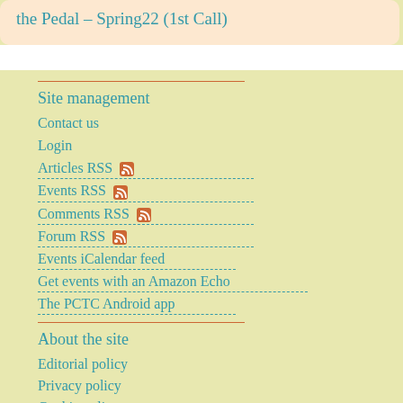the Pedal – Spring22 (1st Call)
Site management
Contact us
Login
Articles RSS
Events RSS
Comments RSS
Forum RSS
Events iCalendar feed
Get events with an Amazon Echo
The PCTC Android app
About the site
Editorial policy
Privacy policy
Cookie policy
Legal